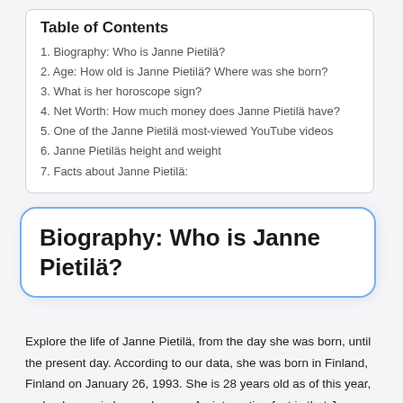Table of Contents
1. Biography: Who is Janne Pietilä?
2. Age: How old is Janne Pietilä? Where was she born?
3. What is her horoscope sign?
4. Net Worth: How much money does Janne Pietilä have?
5. One of the Janne Pietilä most-viewed YouTube videos
6. Janne Pietiläs height and weight
7. Facts about Janne Pietilä:
Biography: Who is Janne Pietilä?
Explore the life of Janne Pietilä, from the day she was born, until the present day. According to our data, she was born in Finland, Finland on January 26, 1993. She is 28 years old as of this year, and unknown is her real name. An interesting fact is that Janne Pietilä was born under a horoscope sign of Aquarius.